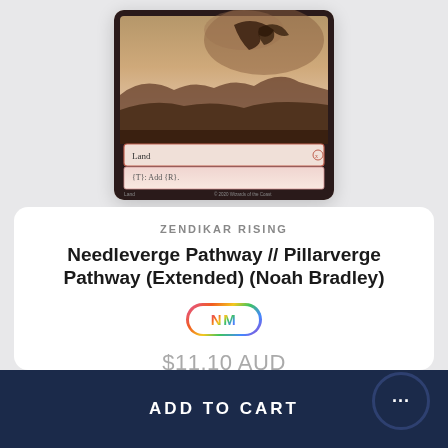[Figure (illustration): Magic: The Gathering card - Needleverge Pathway // Pillarverge Pathway Extended art card showing a dramatic fantasy landscape with a creature and red/pink land type text box reading 'Land' and '{T}: Add {R}.']
ZENDIKAR RISING
Needleverge Pathway // Pillarverge Pathway (Extended) (Noah Bradley)
[Figure (other): NM badge - rainbow gradient oval badge with white inner oval containing 'NM' text in rainbow gradient]
$11.10 AUD
ADD TO CART